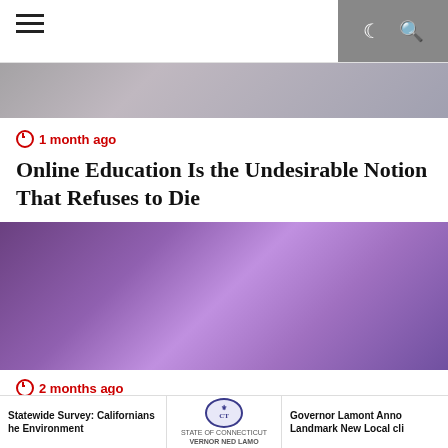Navigation bar with hamburger menu and search/dark mode icons
[Figure (photo): Partial top of article image, dark/grey tones, person partially visible]
1 month ago
Online Education Is the Undesirable Notion That Refuses to Die
[Figure (photo): Beauty pageant winner in black sequined dress and white sash with flowers, waving on stage, crowd of contestants in red dresses behind her, purple sparkly backdrop]
2 months ago
Bailey Hodson of Berwick named winner of
Statewide Survey: Californians he Environment | Governor Lamont Anno Landmark New Local cli